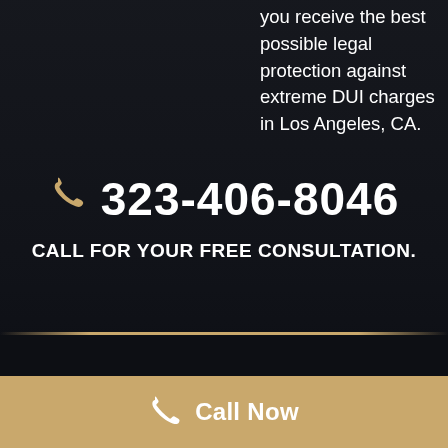you receive the best possible legal protection against extreme DUI charges in Los Angeles, CA.
323-406-8046
CALL FOR YOUR FREE CONSULTATION.
Call Now